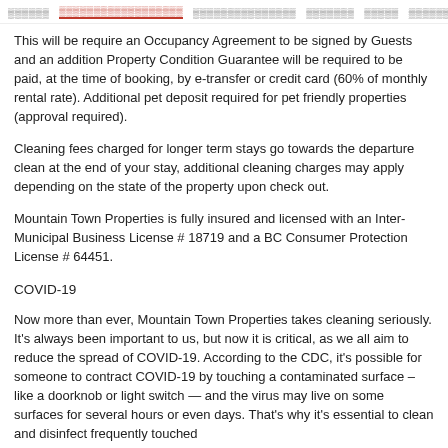oooooo   oooooooooooooooooo   ooooooooooooooo   ooooooo   ooooo   ooooooooo
This will be require an Occupancy Agreement to be signed by Guests and an addition Property Condition Guarantee will be required to be paid, at the time of booking, by e-transfer or credit card (60% of monthly rental rate). Additional pet deposit required for pet friendly properties (approval required).
Cleaning fees charged for longer term stays go towards the departure clean at the end of your stay, additional cleaning charges may apply depending on the state of the property upon check out.
Mountain Town Properties is fully insured and licensed with an Inter-Municipal Business License # 18719 and a BC Consumer Protection License # 64451.
COVID-19
Now more than ever, Mountain Town Properties takes cleaning seriously. It's always been important to us, but now it is critical, as we all aim to reduce the spread of COVID-19. According to the CDC, it's possible for someone to contract COVID-19 by touching a contaminated surface – like a doorknob or light switch — and the virus may live on some surfaces for several hours or even days. That's why it's essential to clean and disinfect frequently touched